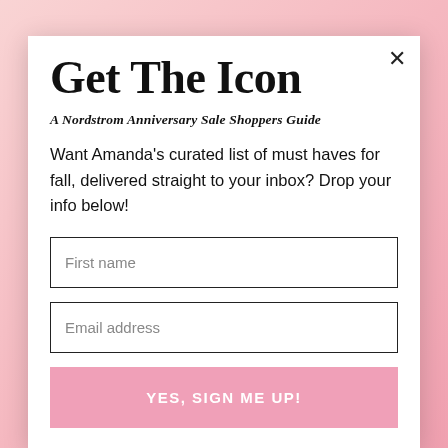[Figure (illustration): Pink floral background behind modal dialog]
Get The Icon
A Nordstrom Anniversary Sale Shoppers Guide
Want Amanda's curated list of must haves for fall, delivered straight to your inbox? Drop your info below!
First name
Email address
YES, SIGN ME UP!